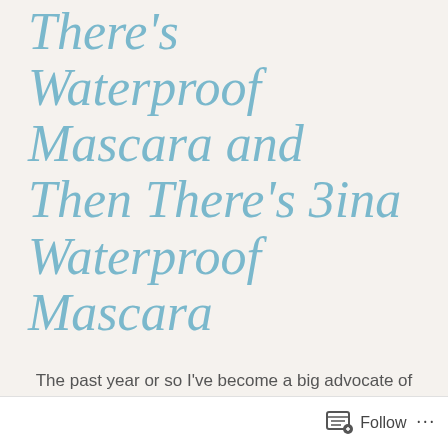There's Waterproof Mascara and Then There's 3ina Waterproof Mascara
The past year or so I've become a big advocate of waterproof mascara.
It not only holds a curl better in your lashes but it also doesn't smudge all over your eyes throughout the day.
I've been using NYX Doll Eye Mascara for the past
Follow